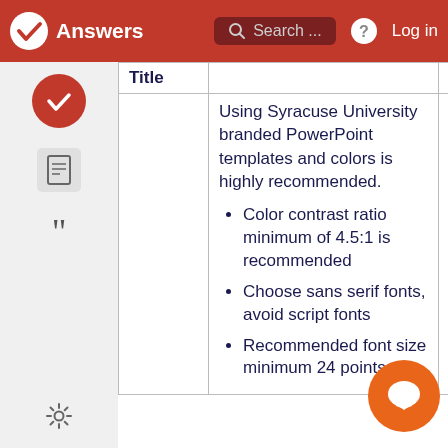Answers  Search ...  Log in
| Title |  |  |
| --- | --- | --- |
|  | Using Syracuse University branded PowerPoint templates and colors is highly recommended.
• Color contrast ratio minimum of 4.5:1 is recommended
• Choose sans serif fonts, avoid script fonts
• Recommended font size minimum 24 points, 36 |  |  |
Color contrast ratio minimum of 4.5:1 is recommended
Choose sans serif fonts, avoid script fonts
Recommended font size minimum 24 points, 36